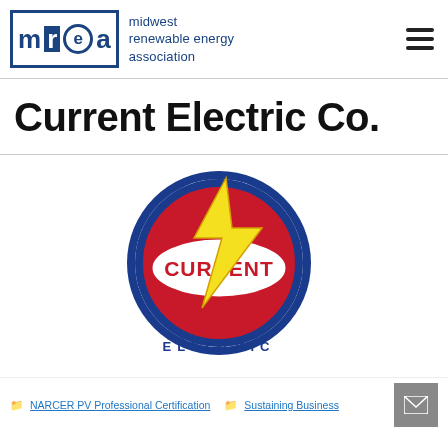[Figure (logo): Midwest Renewable Energy Association (MREA) logo with boxed letter icons m, r, e, a and text 'midwest renewable energy association' in navy blue]
Current Electric Co.
[Figure (logo): Current Electric company logo: circular badge with blue outer ring, red center with 'CURRENT' text in red on white oval, yellow lightning bolt graphic, text 'ELECTRIC' below in spaced letters]
NARCER PV Professional Certification  Sustaining Business